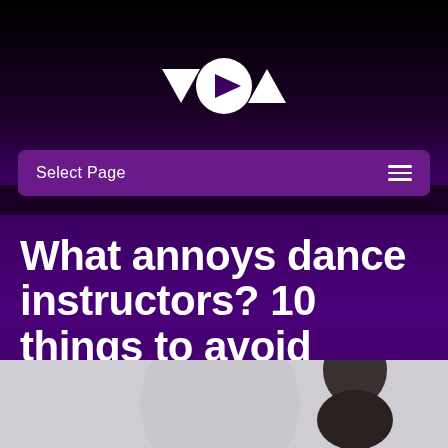[Figure (logo): VOA logo - white triangular shapes forming letters V, O (with play button), A on dark background]
Select Page
What annoys dance instructors? 10 things to avoid
by vda | Jun 22, 2020 | Culture, Funny | 0 comments
[Figure (photo): Partial photo of a person's head/shoulder against light grey background, bottom of page]